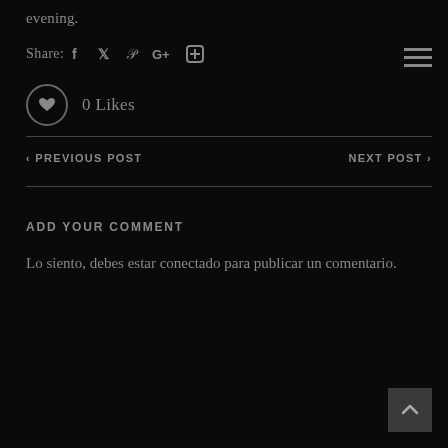evening.
Share: [Facebook] [Twitter] [Pinterest] [Google+] [Add]
0 Likes
‹ PREVIOUS POST
NEXT POST ›
ADD YOUR COMMENT
Lo siento, debes estar conectado para publicar un comentario.